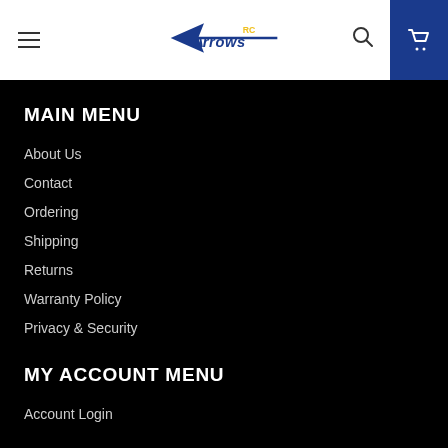[Figure (logo): RC Arrows logo - blue arrow stylized lettering with yellow 'RC' text]
MAIN MENU
About Us
Contact
Ordering
Shipping
Returns
Warranty Policy
Privacy & Security
MY ACCOUNT MENU
Account Login